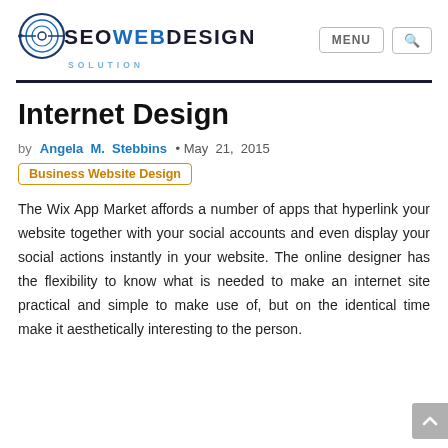[Figure (logo): SEO Web Design Solution logo with circular icon and text]
Internet Design
by Angela M. Stebbins • May 21, 2015
Business Website Design
The Wix App Market affords a number of apps that hyperlink your website together with your social accounts and even display your social actions instantly in your website. The online designer has the flexibility to know what is needed to make an internet site practical and simple to make use of, but on the identical time make it aesthetically interesting to the person.